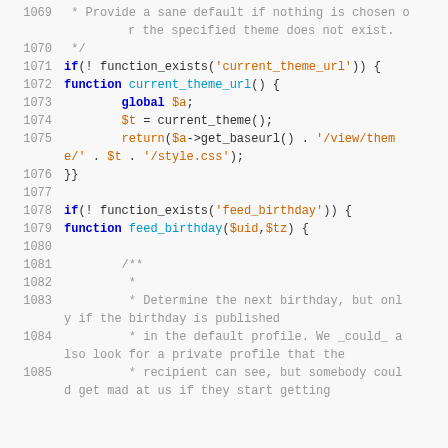Code listing lines 1069-1085, PHP source code showing current_theme_url and feed_birthday functions
1069: * Provide a sane default if nothing is chosen or the specified theme does not exist.
1070: */
1071: if(! function_exists('current_theme_url')) {
1072: function current_theme_url() {
1073:         global $a;
1074:         $t = current_theme();
1075:         return($a->get_baseurl() . '/view/theme/' . $t . '/style.css');
1076: }}
1077:
1078: if(! function_exists('feed_birthday')) {
1079: function feed_birthday($uid,$tz) {
1080:
1081:         /**
1082:          *
1083:          * Determine the next birthday, but only if the birthday is published
1084:          * in the default profile. We _could_ also look for a private profile that the
1085:          * recipient can see, but somebody could get mad at us if they start getting